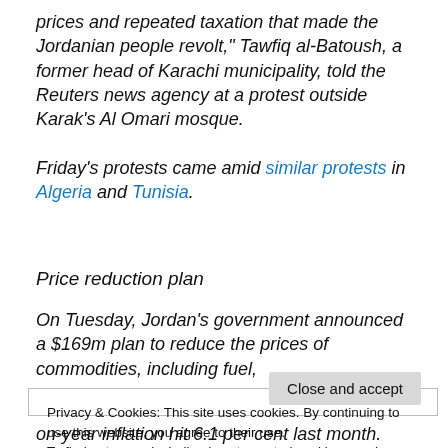prices and repeated taxation that made the Jordanian people revolt," Tawfiq al-Batoush, a former head of Karachi municipality, told the Reuters news agency at a protest outside Karak's Al Omari mosque.
Friday's protests came amid similar protests in Algeria and Tunisia.
Price reduction plan
On Tuesday, Jordan's government announced a $169m plan to reduce the prices of commodities, including fuel,
Privacy & Cookies: This site uses cookies. By continuing to use this website, you agree to their use.
To find out more, including how to control cookies, see here: Cookie Policy
on-year inflation hit 6.1 per cent last month.